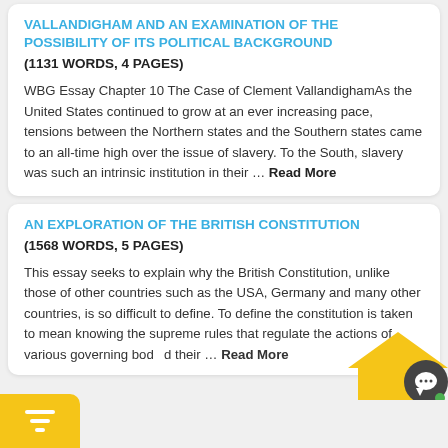VALLANDIGHAM AND AN EXAMINATION OF THE POSSIBILITY OF ITS POLITICAL BACKGROUND
(1131 WORDS, 4 PAGES)
WBG Essay Chapter 10 The Case of Clement VallandighamAs the United States continued to grow at an ever increasing pace, tensions between the Northern states and the Southern states came to an all-time high over the issue of slavery. To the South, slavery was such an intrinsic institution in their … Read More
AN EXPLORATION OF THE BRITISH CONSTITUTION
(1568 WORDS, 5 PAGES)
This essay seeks to explain why the British Constitution, unlike those of other countries such as the USA, Germany and many other countries, is so difficult to define. To define the constitution is taken to mean knowing the supreme rules that regulate the actions of various governing bod… d their … Read More